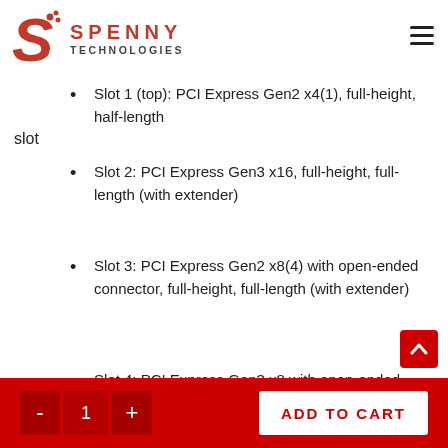SPENNY TECHNOLOGIES
slot
Slot 1 (top): PCI Express Gen2 x4(1), full-height, half-length
Slot 2: PCI Express Gen3 x16, full-height, full-length (with extender)
Slot 3: PCI Express Gen2 x8(4) with open-ended connector, full-height, full-length (with extender)
Slot 4: PCI Express Gen3 x8 with open-ended connector, full-height, full-length (with extender)
Slot 5: PCI Express Gen3 x16, full-height, full-length (with extender)
Slot 6: PCI 32-bit/33 MHz, full-height, full-length (with extender)
- 1 + ADD TO CART